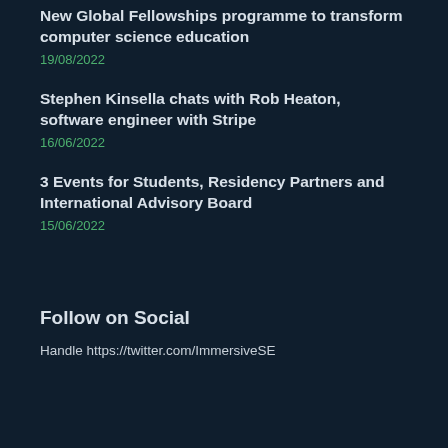New Global Fellowships programme to transform computer science education
19/08/2022
Stephen Kinsella chats with Rob Heaton, software engineer with Stripe
16/06/2022
3 Events for Students, Residency Partners and International Advisory Board
15/06/2022
Follow on Social
Handle https://twitter.com/ImmersiveSE